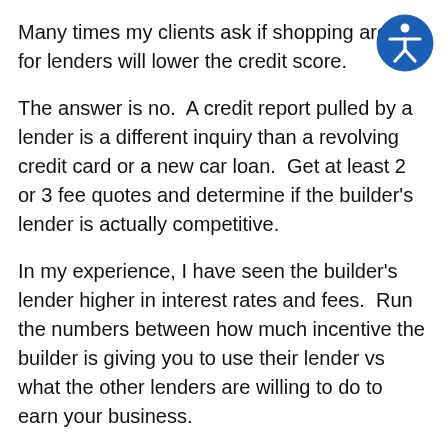Many times my clients ask if shopping around for lenders will lower the credit score.
[Figure (illustration): Accessibility icon — a circular blue badge with a white stylized person figure (universal accessibility symbol)]
The answer is no.  A credit report pulled by a lender is a different inquiry than a revolving credit card or a new car loan.  Get at least 2 or 3 fee quotes and determine if the builder's lender is actually competitive.
In my experience, I have seen the builder’s lender higher in interest rates and fees.  Run the numbers between how much incentive the builder is giving you to use their lender vs what the other lenders are willing to do to earn your business.
I have coached my buyers about shopping for